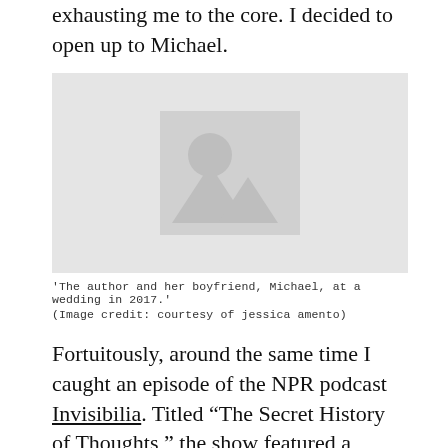exhausting me to the core. I decided to open up to Michael.
[Figure (photo): Placeholder image representing a photo of the author and her boyfriend, Michael, at a wedding in 2017.]
'The author and her boyfriend, Michael, at a wedding in 2017.'
(Image credit: courtesy of jessica amento)
Fortuitously, around the same time I caught an episode of the NPR podcast Invisibilia. Titled “The Secret History of Thoughts,” the show featured a newlywed man called "S", who described an